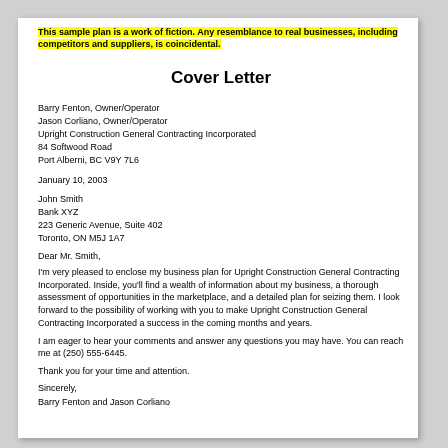This sample plan is a work of fiction. Any resemblance to real businesses, including competitors and suppliers, is coincidental.
Cover Letter
Barry Fenton, Owner/Operator
Jason Corliano, Owner/Operator
Upright Construction General Contracting Incorporated
84 Softwood Road
Port Alberni, BC V9Y 7L6
January 10, 2003
John Smith
Bank XYZ
223 Generic Avenue, Suite 402
Toronto, ON M5J 1A7
Dear Mr. Smith,
I'm very pleased to enclose my business plan for Upright Construction General Contracting Incorporated. Inside, you'll find a wealth of information about my business, a thorough assessment of opportunities in the marketplace, and a detailed plan for seizing them. I look forward to the possibility of working with you to make Upright Construction General Contracting Incorporated a success in the coming months and years.
I am eager to hear your comments and answer any questions you may have. You can reach me at (250) 555-6445.
Thank you for your time and attention.
Sincerely,
Barry Fenton and Jason Corliano